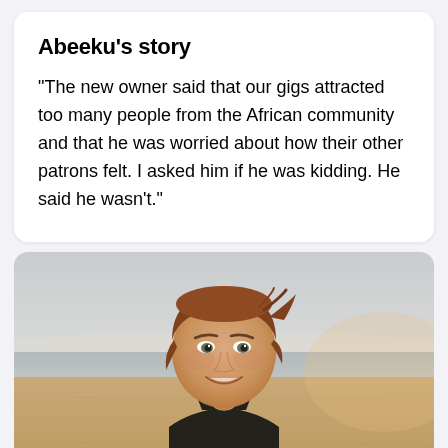Abeeku's story
"The new owner said that our gigs attracted too many people from the African community and that he was worried about how their other patrons felt. I asked him if he was kidding. He said he wasn't."
[Figure (photo): A woman with short reddish-brown hair smiling at the camera, photographed outdoors on a sandy beach with a hazy sky and water in the background. She is wearing a black tank top.]